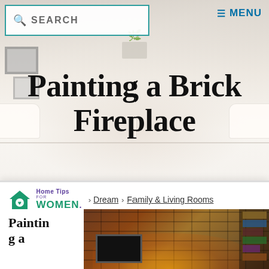SEARCH | MENU
[Figure (photo): Hero image of a bright modern living room with white sofas, light wood floor, brick fireplace wall, decorative frames on left wall, and a plant on a shelf]
Painting a Brick Fireplace
[Figure (logo): Home Tips for Women logo with teal house icon with heart, purple 'Home Tips for' text, and teal 'WOMEN.' wordmark]
Dream > Family & Living Rooms
Content may contain referral links. Read our disclosure policy for more information.
Painting a
[Figure (photo): Photo of a warm brick fireplace with glowing fire, mounted TV above, and bookshelves on the right side]